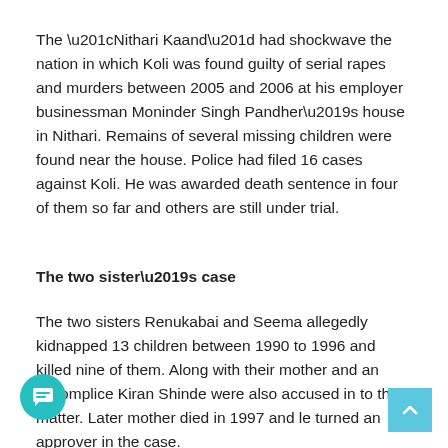The “Nithari Kaand” had shockwave the nation in which Koli was found guilty of serial rapes and murders between 2005 and 2006 at his employer businessman Moninder Singh Pandher’s house in Nithari. Remains of several missing children were found near the house. Police had filed 16 cases against Koli. He was awarded death sentence in four of them so far and others are still under trial.
The two sister’s case
The two sisters Renukabai and Seema allegedly kidnapped 13 children between 1990 to 1996 and killed nine of them. Along with their mother and an accomplice Kiran Shinde were also accused in to the matter. Later mother died in 1997 and le turned an approver in the case.